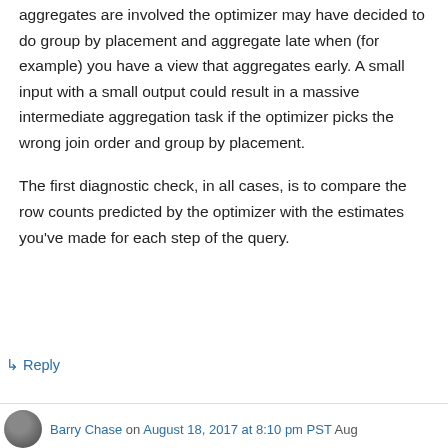aggregates are involved the optimizer may have decided to do group by placement and aggregate late when (for example) you have a view that aggregates early. A small input with a small output could result in a massive intermediate aggregation task if the optimizer picks the wrong join order and group by placement.
The first diagnostic check, in all cases, is to compare the row counts predicted by the optimizer with the estimates you've made for each step of the query.
↳ Reply
Barry Chase on August 18, 2017 at 8:10 pm PST Aug